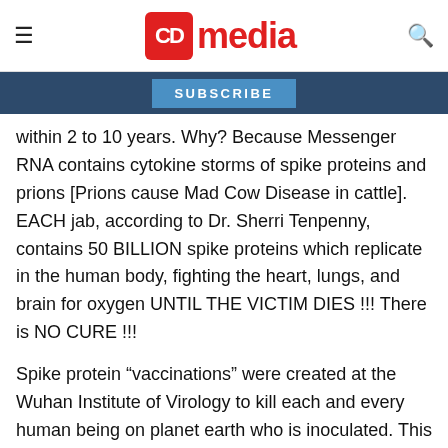CD media
SUBSCRIBE
within 2 to 10 years. Why? Because Messenger RNA contains cytokine storms of spike proteins and prions [Prions cause Mad Cow Disease in cattle]. EACH jab, according to Dr. Sherri Tenpenny, contains 50 BILLION spike proteins which replicate in the human body, fighting the heart, lungs, and brain for oxygen UNTIL THE VICTIM DIES !!! There is NO CURE !!!
Spike protein “vaccinations” were created at the Wuhan Institute of Virology to kill each and every human being on planet earth who is inoculated. This is global genocide. Bill Gates, who is an ardent follower of the Georgia Guidestones [which mandates that there can be NO MORE THAN 500 MILLION people on Planet Earth], gave him justification to go into the Vaccine Experiment Business and quadruple his income. Saint Fauci is